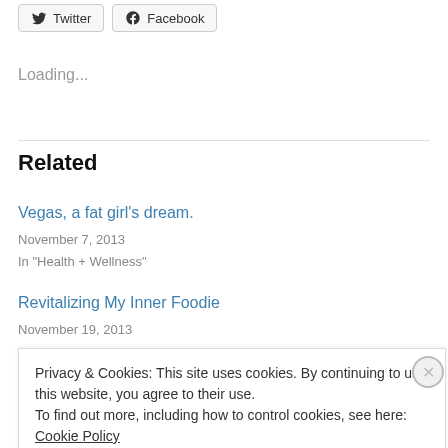[Figure (other): Twitter and Facebook social share buttons]
Loading...
Related
Vegas, a fat girl's dream.
November 7, 2013
In "Health + Wellness"
Revitalizing My Inner Foodie
November 19, 2013
Privacy & Cookies: This site uses cookies. By continuing to use this website, you agree to their use.
To find out more, including how to control cookies, see here: Cookie Policy
Close and accept